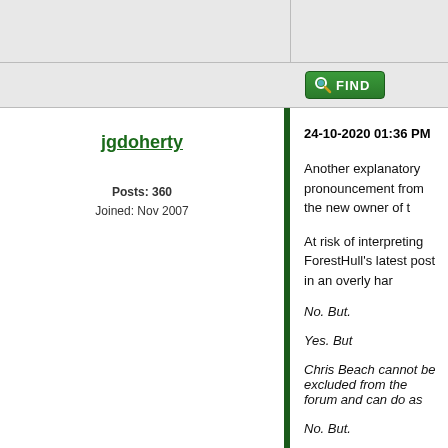[Figure (screenshot): Forum interface with a green FIND button]
jgdoherty
Posts: 360
Joined: Nov 2007
24-10-2020 01:36 PM
Another explanatory pronouncement from the new owner of t
At risk of interpreting ForestHull’s latest post in an overly har
No. But.
Yes. But
Chris Beach cannot be excluded from the forum and can do as
No. But.
The master of this domain’s posts cannot be censured and Mr
members with the ordure that is his right wing dogma.
Yes. But.
Just as he has done over many years.